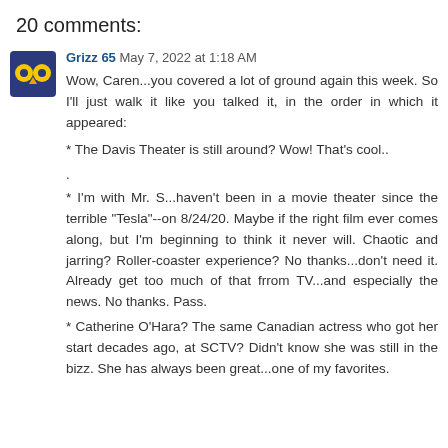20 comments:
Grizz 65 May 7, 2022 at 1:18 AM
Wow, Caren...you covered a lot of ground again this week. So I'll just walk it like you talked it, in the order in which it appeared:

* The Davis Theater is still around? Wow! That's cool..
.
* I'm with Mr. S...haven't been in a movie theater since the terrible "Tesla"--on 8/24/20. Maybe if the right film ever comes along, but I'm beginning to think it never will. Chaotic and jarring? Roller-coaster experience? No thanks...don't need it. Already get too much of that frrom TV...and especially the news. No thanks. Pass.

* Catherine O'Hara? The same Canadian actress who got her start decades ago, at SCTV? Didn't know she was still in the bizz. She has always been great...one of my favorites.